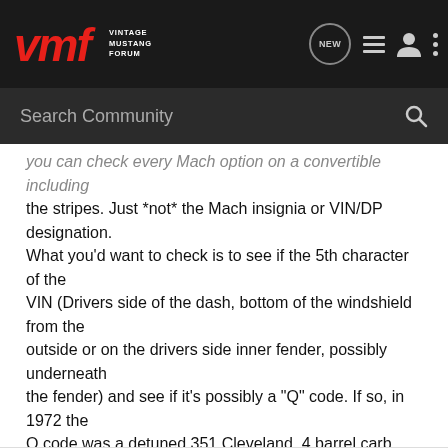VMF VINTAGE MUSTANG FORUM
Search Community
You can check every Mach option on a convertible including the stripes. Just *not* the Mach insignia or VIN/DP designation. What you'd want to check is to see if the 5th character of the VIN (Drivers side of the dash, bottom of the windshield from the outside or on the drivers side inner fender, possibly underneath the fender) and see if it's possibly a "Q" code. If so, in 1972 the Q code was a detuned 351 Cleveland, 4 barrel carb. This was the strongest engine available in 1972 for the Mustang line. Get us the VIN and some pictures!
Rusty or not, I love to find unique cars
/forums/images/icons/smile.gif
Thanks,
Doug